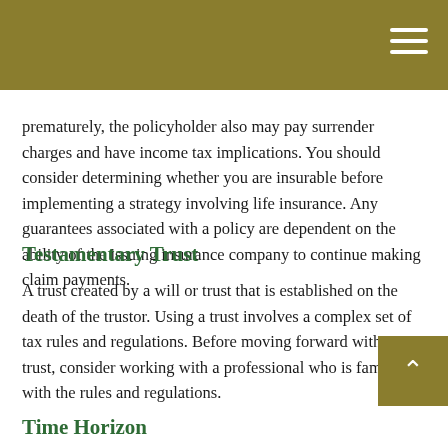prematurely, the policyholder also may pay surrender charges and have income tax implications. You should consider determining whether you are insurable before implementing a strategy involving life insurance. Any guarantees associated with a policy are dependent on the ability of the issuing insurance company to continue making claim payments.
Testamentary Trust
A trust created by a will or trust that is established on the death of the trustor. Using a trust involves a complex set of tax rules and regulations. Before moving forward with a trust, consider working with a professional who is familiar with the rules and regulations.
Time Horizon